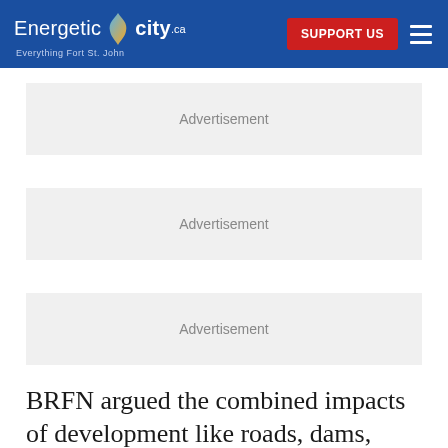Energetic City.ca — Everything Fort St. John | SUPPORT US
[Figure (other): Advertisement placeholder box 1]
[Figure (other): Advertisement placeholder box 2]
[Figure (other): Advertisement placeholder box 3]
BRFN argued the combined impacts of development like roads, dams, transmission lines, and natural gas extraction have slowly reduced access to natural resources